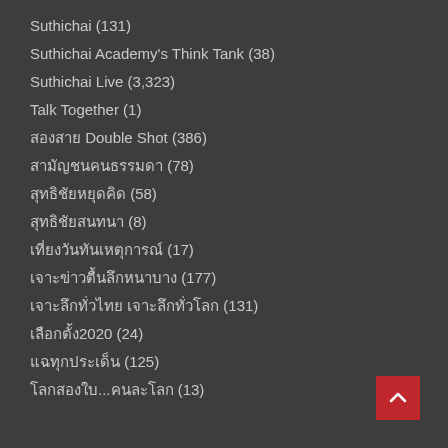Suthichai (131)
Suthichai Academy's Think Tank (38)
Suthichai Live (3,323)
Talk Together (1)
สองสาย Double Shot (386)
สามัญชนคนธรรมดา (78)
สุทธิชัยหยุดคิด (58)
สุทธิชัยสนทนา (8)
เที่ยงวันทันเหตุการณ์ (17)
เจาะข่าวตื้นลึกหนาบาง (177)
เจาะลึกทั่วไทย เจาะลึกทั่วโลก (131)
เลือกตั้ง2020 (24)
แฉทุกประเด็น (125)
โลกสองใบ...คนละโลก (13)